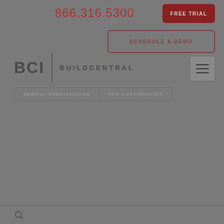866.316.5300
FREE TRIAL
SCHEDULE A DEMO
[Figure (logo): BCI | BUILDCENTRAL logo with vertical divider between BCI text and BUILDCENTRAL text]
[Figure (other): Hamburger menu icon (three horizontal lines) in a square button]
MEDICAL CONSTRUCTION
NEW CONSTRUCTION